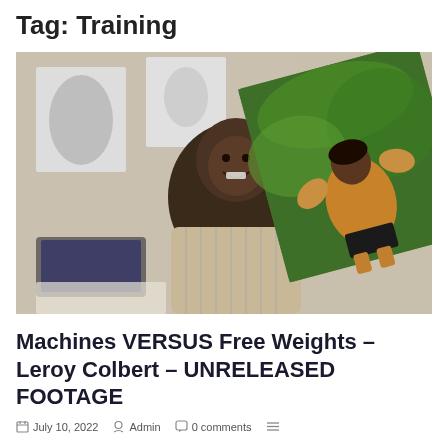Tag: Training
[Figure (photo): Composite photo showing a smiling older Black man in a striped shirt seated in an office with bodybuilding artwork on the wall, overlaid with a rotated video still of a muscular person training outdoors under green foliage.]
Machines VERSUS Free Weights – Leroy Colbert – UNRELEASED FOOTAGE
July 10, 2022   Admin   0 comments